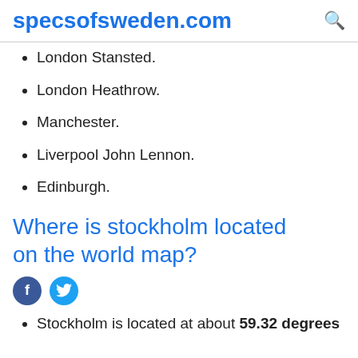specsofsweden.com
London Stansted.
London Heathrow.
Manchester.
Liverpool John Lennon.
Edinburgh.
Where is stockholm located on the world map?
[Figure (other): Social media icons: Facebook and Twitter circular icons]
Stockholm is located at about 59.32 degrees